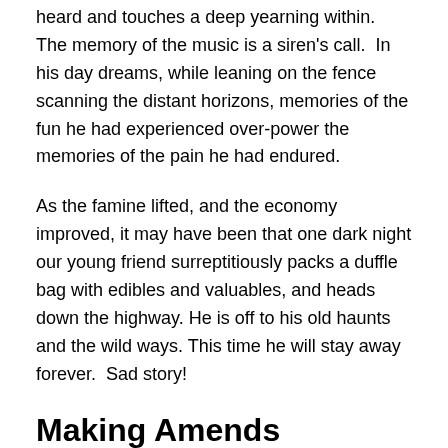heard and touches a deep yearning within.  The memory of the music is a siren's call.  In his day dreams, while leaning on the fence scanning the distant horizons, memories of the fun he had experienced over-power the memories of the pain he had endured.
As the famine lifted, and the economy improved, it may have been that one dark night our young friend surreptitiously packs a duffle bag with edibles and valuables, and heads down the highway. He is off to his old haunts and the wild ways. This time he will stay away forever.  Sad story!
Making Amends
But there is a happier possibility to end this tale on.  In my